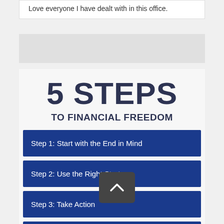Love everyone I have dealt with in this office.
5 STEPS
TO FINANCIAL FREEDOM
Step 1: Start with the End in Mind
Step 2: Use the Right Strategy
Step 3: Take Action
Step 4: Hire the Right Team
Step 5: Celebrate!